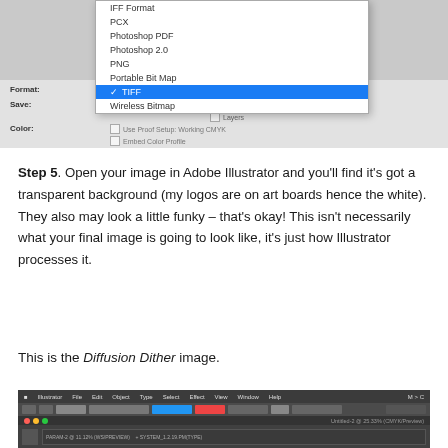[Figure (screenshot): macOS Save dialog showing a dropdown file format menu with TIFF selected (highlighted in blue), containing options: IFF Format, PCX, Photoshop PDF, Photoshop 2.0, PNG, Portable Bit Map, TIFF (selected), Wireless Bitmap. Below shows Format, Save, and Color fields with checkboxes for Alpha Channels, Spot Colors, Layers, Use Proof Setup: Working CMYK, Embed Color Profile.]
Step 5. Open your image in Adobe Illustrator and you'll find it's got a transparent background (my logos are on art boards hence the white). They also may look a little funky – that's okay! This isn't necessarily what your final image is going to look like, it's just how Illustrator processes it.
This is the Diffusion Dither image.
[Figure (screenshot): Adobe Illustrator application window showing dark interface with menu bar (Illustrator, File, Edit, Object, Type, Select, Effect, View, Window, Help) and toolbar, with a document open.]